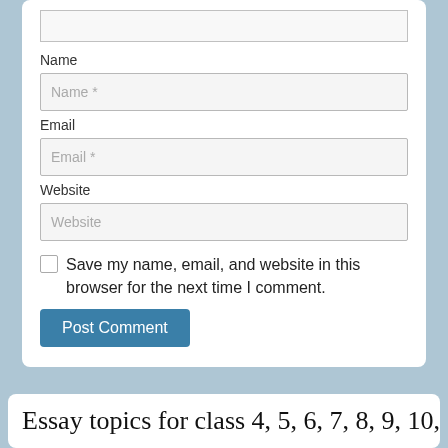Name
Name *
Email
Email *
Website
Website
Save my name, email, and website in this browser for the next time I comment.
Post Comment
Essay topics for class 4, 5, 6, 7, 8, 9, 10,